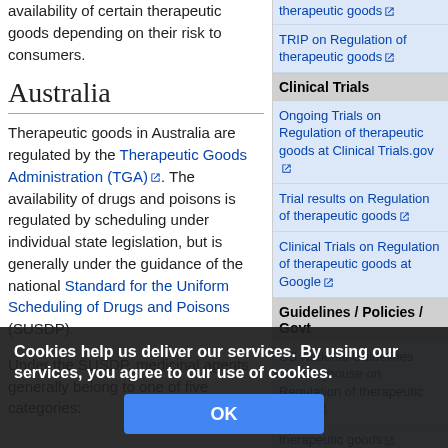availability of certain therapeutic goods depending on their risk to consumers.
Australia
Therapeutic goods in Australia are regulated by the Therapeutic Goods Administration (TGA). The availability of drugs and poisons is regulated by scheduling under individual state legislation, but is generally under the guidance of the national Standard for the Uniform Scheduling of Drugs and Poisons (SUSDP).
Under the SUSDP, medicinal agents generally belong to one of five categories:
Clinical Trials
Ongoing Trials on Regulation of therapeutic goods at Clinical Trials.gov
Trial results on Regulation of therapeutic goods
Clinical Trials on Regulation of therapeutic goods at Google
Guidelines / Policies / Govt
US National Guidelines Clearinghouse on Regulation of therapeutic goods
TRIP on Regulation of therapeutic goods
NHS PRODIGY Guidance
Cookies help us deliver our services. By using our services, you agree to our use of cookies.